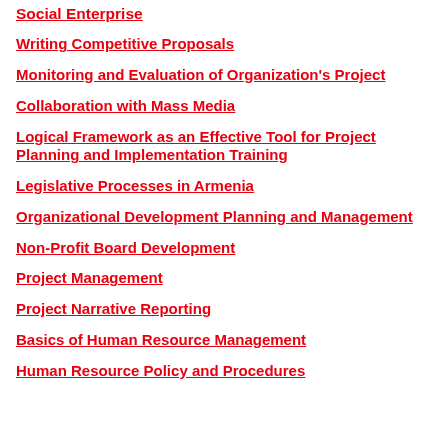Social Enterprise
Writing Competitive Proposals
Monitoring and Evaluation of Organization's Project
Collaboration with Mass Media
Logical Framework as an Effective Tool for Project Planning and Implementation Training
Legislative Processes in Armenia
Organizational Development Planning and Management
Non-Profit Board Development
Project Management
Project Narrative Reporting
Basics of Human Resource Management
Human Resource Policy and Procedures